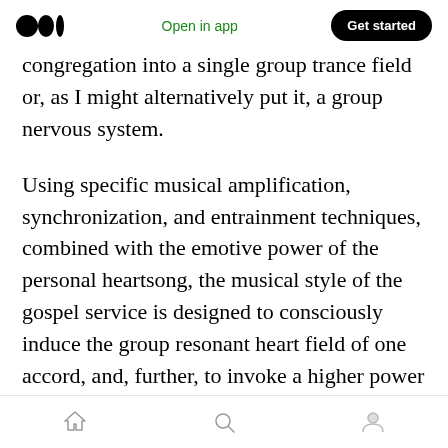Open in app | Get started
congregation into a single group trance field or, as I might alternatively put it, a group nervous system.
Using specific musical amplification, synchronization, and entrainment techniques, combined with the emotive power of the personal heartsong, the musical style of the gospel service is designed to consciously induce the group resonant heart field of one accord, and, further, to invoke a higher power to accomplish healing and change. One accord literally means “one heart.” I propose here that this concept be
Home | Search | Profile